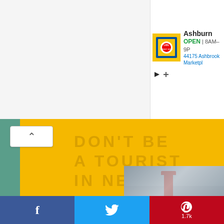[Figure (screenshot): Advertisement banner for Lidl grocery store in Ashburn showing store logo, OPEN status, hours 8AM-9P, and address 44175 Ashbrook Marketpl...]
[Figure (photo): Yellow hardcover book titled 'DON'T BE A TOURIST IN NEW YORK' with embossed orange lettering, shown at an angle. A small inset photo shows a red lighthouse and structural beams under an overcast sky. Teal spine visible on left.]
f  t  P 1.7k